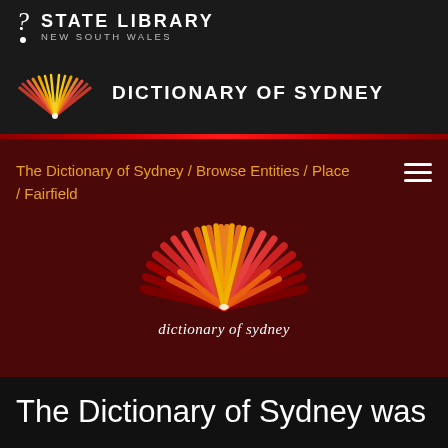STATE LIBRARY NEW SOUTH WALES
[Figure (logo): Dictionary of Sydney logo - open book with red and orange fanned pages]
DICTIONARY OF SYDNEY
The Dictionary of Sydney / Browse Entities / Place / Fairfield
[Figure (logo): Large Dictionary of Sydney logo - open book with red, orange, yellow fanned pages and text 'dictionary of sydney']
The Dictionary of Sydney was